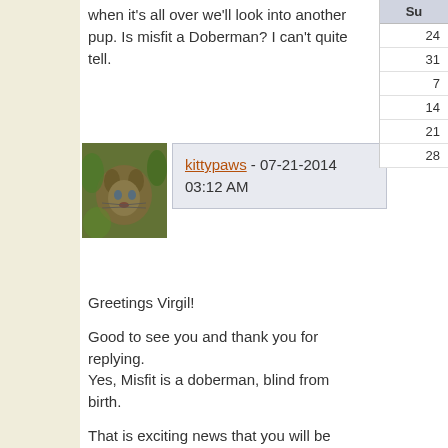when it's all over we'll look into another pup. Is misfit a Doberman? I can't quite tell.
[Figure (photo): Avatar image of a cat or exotic animal face with green background]
kittypaws - 07-21-2014 03:12 AM
Greetings Virgil!

Good to see you and thank you for replying.
Yes, Misfit is a doberman, blind from birth.

That is exciting news that you will be looking into pup once the remodeling is done. Smart move to wait!

Depending on the breed you select some are quite adapt to agility and it is a great way to expand their minds. Dogs aren't all about being petted and chasing balls...some like to work. But all dogs like to please their owners.

Please keep us posted...
| Su |
| --- |
| 24 |
| 31 |
| 7 |
| 14 |
| 21 |
| 28 |